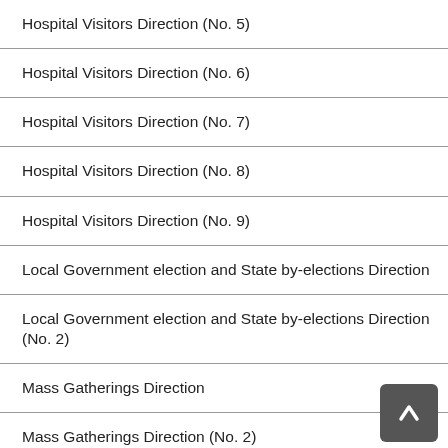Hospital Visitors Direction (No. 5)
Hospital Visitors Direction (No. 6)
Hospital Visitors Direction (No. 7)
Hospital Visitors Direction (No. 8)
Hospital Visitors Direction (No. 9)
Local Government election and State by-elections Direction
Local Government election and State by-elections Direction (No. 2)
Mass Gatherings Direction
Mass Gatherings Direction (No. 2)
Movement and Gathering Direction
Movement and Gathering Direction (No. 2)